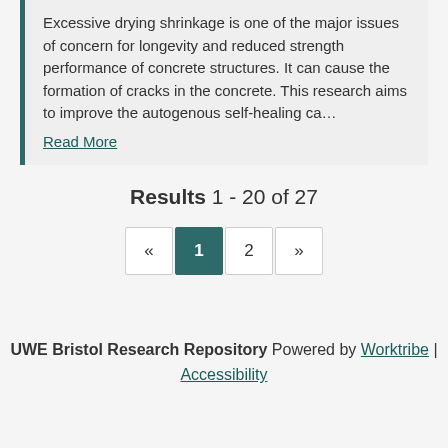Excessive drying shrinkage is one of the major issues of concern for longevity and reduced strength performance of concrete structures. It can cause the formation of cracks in the concrete. This research aims to improve the autogenous self-healing ca… Read More
Results 1 - 20 of 27
« 1 2 »
UWE Bristol Research Repository Powered by Worktribe | Accessibility